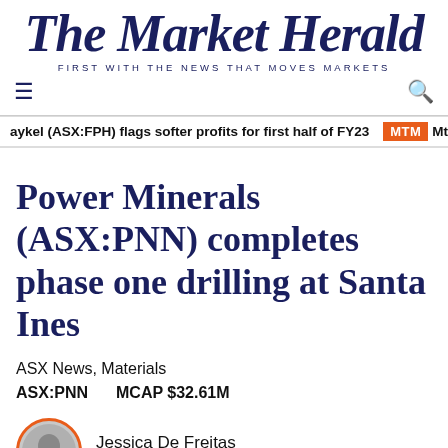The Market Herald
FIRST WITH THE NEWS THAT MOVES MARKETS
aykel (ASX:FPH) flags softer profits for first half of FY23  MTM  Mt
Power Minerals (ASX:PNN) completes phase one drilling at Santa Ines
ASX News, Materials
ASX:PNN    MCAP $32.61M
Jessica De Freitas
Markets Reporter